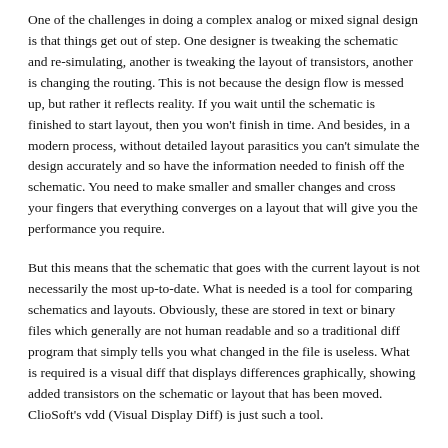One of the challenges in doing a complex analog or mixed signal design is that things get out of step. One designer is tweaking the schematic and re-simulating, another is tweaking the layout of transistors, another is changing the routing. This is not because the design flow is messed up, but rather it reflects reality. If you wait until the schematic is finished to start layout, then you won't finish in time. And besides, in a modern process, without detailed layout parasitics you can't simulate the design accurately and so have the information needed to finish off the schematic. You need to make smaller and smaller changes and cross your fingers that everything converges on a layout that will give you the performance you require.
But this means that the schematic that goes with the current layout is not necessarily the most up-to-date. What is needed is a tool for comparing schematics and layouts. Obviously, these are stored in text or binary files which generally are not human readable and so a traditional diff program that simply tells you what changed in the file is useless. What is required is a visual diff that displays differences graphically, showing added transistors on the schematic or layout that has been moved. ClioSoft's vdd (Visual Display Diff) is just such a tool.